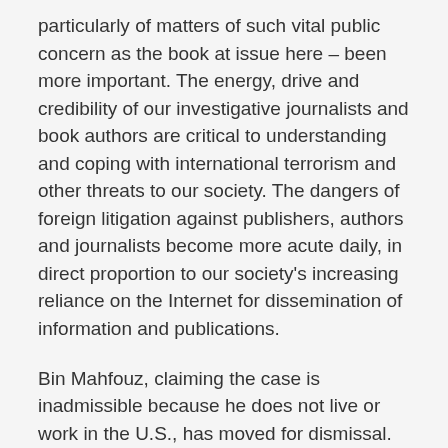particularly of matters of such vital public concern as the book at issue here – been more important. The energy, drive and credibility of our investigative journalists and book authors are critical to understanding and coping with international terrorism and other threats to our society. The dangers of foreign litigation against publishers, authors and journalists become more acute daily, in direct proportion to our society's increasing reliance on the Internet for dissemination of information and publications.
Bin Mahfouz, claiming the case is inadmissible because he does not live or work in the U.S., has moved for dismissal. But until August 2004, bin Mahfouz owned two New York City condominiums worth some $3.6 million and he reportedly continues to conduct stateside and New York business. Moreover, Ehrenfeld has been harassed on her own turf, and her reputation has been damaged. The